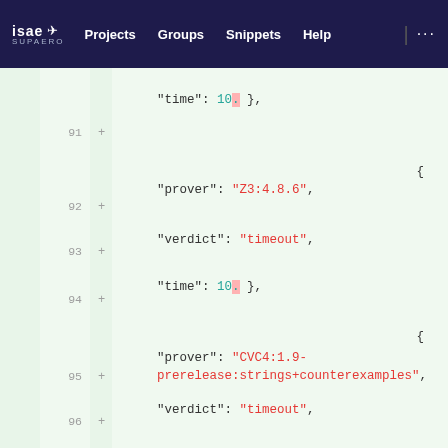isae SUPAERO | Projects | Groups | Snippets | Help | ...
[Figure (screenshot): GitLab code diff view showing JSON code lines 90-96 with line numbers, plus signs in the gutter, and syntax-highlighted strings. Content shows prover/verdict/time JSON fields with values Z3:4.8.6, timeout, 10, CVC4:1.9-prerelease:strings+counterexamples, timeout.]